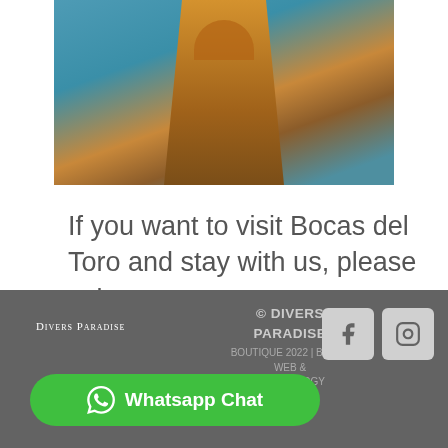[Figure (photo): Aerial view of a person paddling a yellow kayak on turquoise water, seen from above looking down at the bow and the paddler's hands/arms]
If you want to visit Bocas del Toro and stay with us, please write to info@diversparadise.com
DIVERS PARADISE | © DIVERS PARADISE BOUTIQUE 2022 | BLOG | WEB & TECHNOLOGY | Whatsapp Chat
[Figure (logo): Divers Paradise text logo in small caps white]
Whatsapp Chat